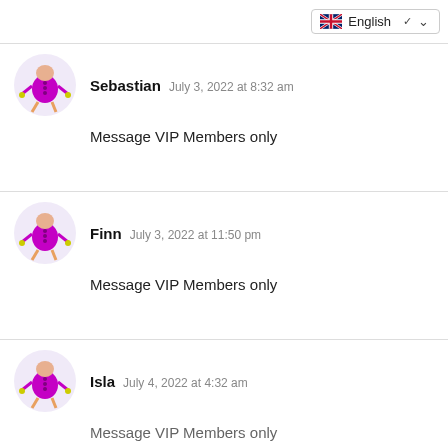English
Sebastian  July 3, 2022 at 8:32 am
Message VIP Members only
Finn  July 3, 2022 at 11:50 pm
Message VIP Members only
Isla  July 4, 2022 at 4:32 am
Message VIP Members only